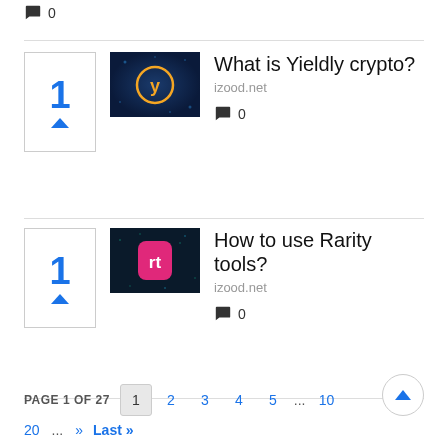0
What is Yieldly crypto? izood.net — 0 comments, 1 vote
How to use Rarity tools? izood.net — 0 comments, 1 vote
PAGE 1 OF 27  1  2  3  4  5  ...  10  20  ...  »  Last »